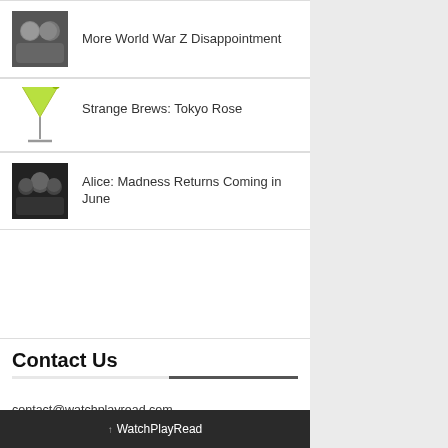More World War Z Disappointment
Strange Brews: Tokyo Rose
Alice: Madness Returns Coming in June
Contact Us
contact@watchplayread.com
↑ WatchPlayRead